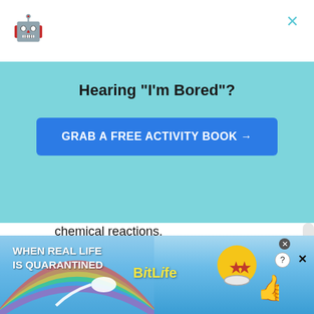[Figure (screenshot): Robot/bot icon in top left corner of modal popup]
Hearing "I'm Bored"?
GRAB A FREE ACTIVITY BOOK →
chemical reactions.
Kids need to be able to add positive and negative numbers to play this game. Once they can add to zero, they're ready to play.
Players build molecules using the element cards.
[Figure (infographic): Advertisement banner for BitLife game showing rainbow, sperm cell graphic, BitLife logo in yellow, and emoji-style characters. Text reads: WHEN REAL LIFE IS QUARANTINED and BitLife]